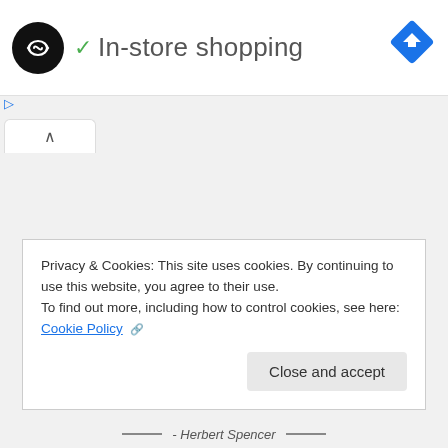[Figure (logo): Black circle logo with white double arrow/infinity-like symbol (coding logo)]
✓ In-store shopping
[Figure (other): Blue diamond-shaped directions/navigation icon]
[Figure (other): Blue play triangle and blue X close icons (ad controls)]
[Figure (other): Browser tab bar with active tab showing up caret chevron]
Privacy & Cookies: This site uses cookies. By continuing to use this website, you agree to their use.
To find out more, including how to control cookies, see here: Cookie Policy
- Herbert Spencer